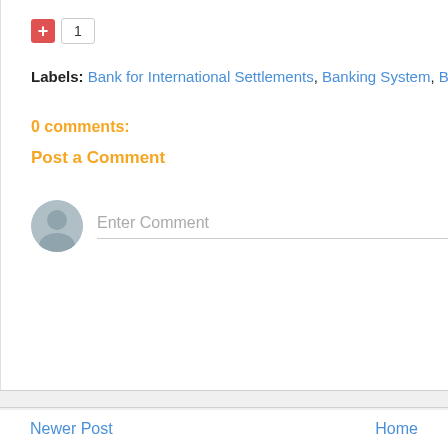[Figure (other): Plus button (red) with count box showing 1]
Labels: Bank for International Settlements, Banking System, BIS, Foreign Exch...
0 comments:
Post a Comment
[Figure (other): User avatar circle icon with Enter Comment input field]
Newer Post   Home